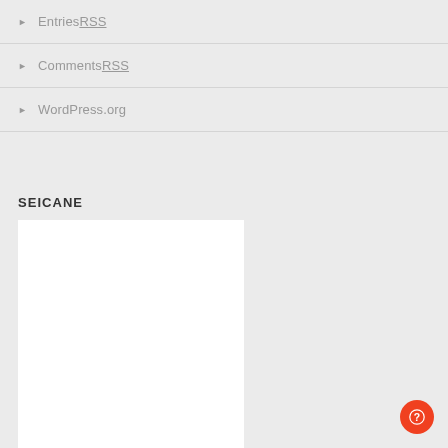Entries RSS
Comments RSS
WordPress.org
SEICANE
[Figure (other): White rectangular placeholder image area below SEICANE heading]